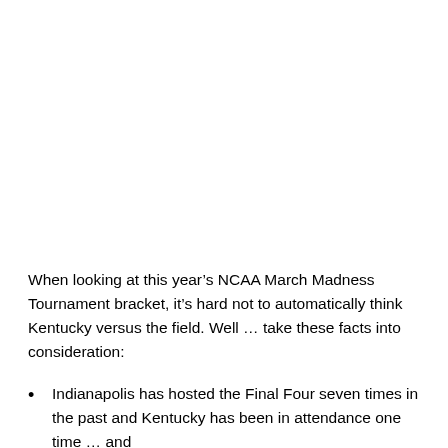When looking at this year's NCAA March Madness Tournament bracket, it's hard not to automatically think Kentucky versus the field. Well ... take these facts into consideration:
Indianapolis has hosted the Final Four seven times in the past and Kentucky has been in attendance one time ... and